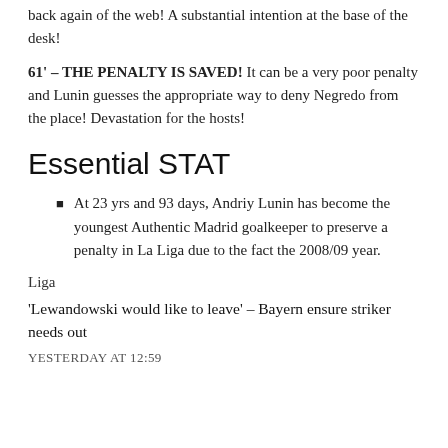back again of the web! A substantial intention at the base of the desk!
61' – THE PENALTY IS SAVED! It can be a very poor penalty and Lunin guesses the appropriate way to deny Negredo from the place! Devastation for the hosts!
Essential STAT
At 23 yrs and 93 days, Andriy Lunin has become the youngest Authentic Madrid goalkeeper to preserve a penalty in La Liga due to the fact the 2008/09 year.
Liga
'Lewandowski would like to leave' – Bayern ensure striker needs out
YESTERDAY AT 12:59